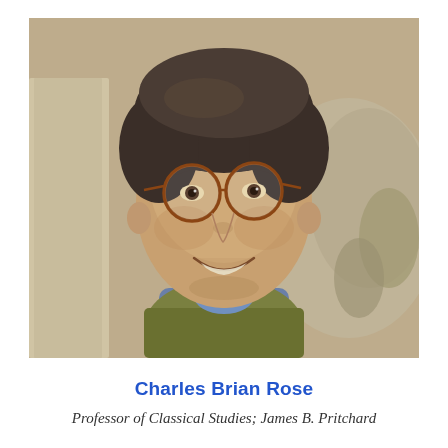[Figure (photo): Headshot photograph of Charles Brian Rose, a middle-aged man with dark hair, round tortoiseshell glasses, and a warm smile, wearing a blue collared shirt under a brown/olive jacket. Background shows stone/classical artifacts.]
Charles Brian Rose
Professor of Classical Studies; James B. Pritchard